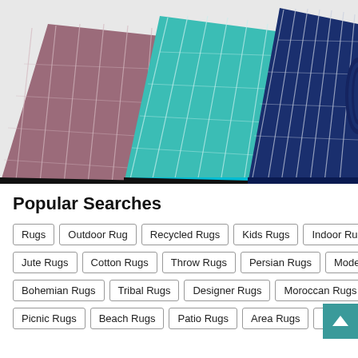[Figure (photo): Three rolled rugs in different colors — mauve/pink, teal/turquoise, and navy blue with cream — displayed diagonally with a video play button overlay in the center.]
Popular Searches
Rugs
Outdoor Rug
Recycled Rugs
Kids Rugs
Indoor Rugs
Jute Rugs
Cotton Rugs
Throw Rugs
Persian Rugs
Modern Rugs
Bohemian Rugs
Tribal Rugs
Designer Rugs
Moroccan Rugs
Picnic Rugs
Beach Rugs
Patio Rugs
Area Rugs
Lounge Rugs